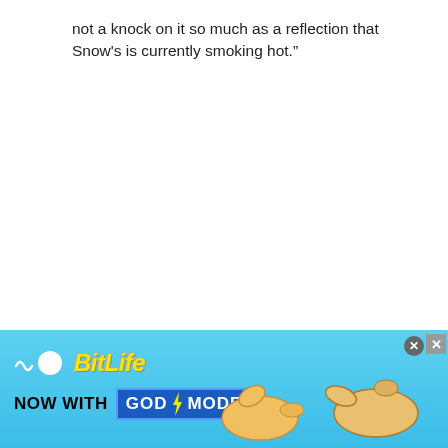not a knock on it so much as a reflection that Snow's is currently smoking hot.”
[Figure (illustration): BitLife advertisement banner with sky-blue gradient background. Shows the BitLife logo (squiggle and circle icon with yellow italic 'BitLife' text), the tagline 'NOW WITH GOD MODE' (GOD MODE in a blue box with lightning bolt), and two illustrated cartoon hands pointing toward each other. Close/info icons in top-right corner.]